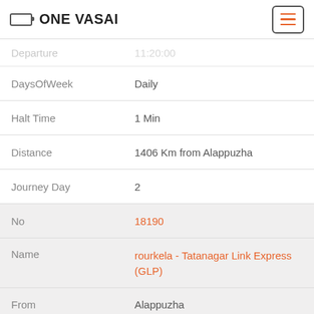ONE VASAI
| Field | Value |
| --- | --- |
| Departure | (partially visible) |
| DaysOfWeek | Daily |
| Halt Time | 1 Min |
| Distance | 1406 Km from Alappuzha |
| Journey Day | 2 |
| No | 18190 |
| Name | rourkela - Tatanagar Link Express (GLP) |
| From | Alappuzha |
| To | Tatanagar Junction |
| Arrival | 11:20:00 |
| Departure | 11:21:00 |
| DaysOfWeek | Daily |